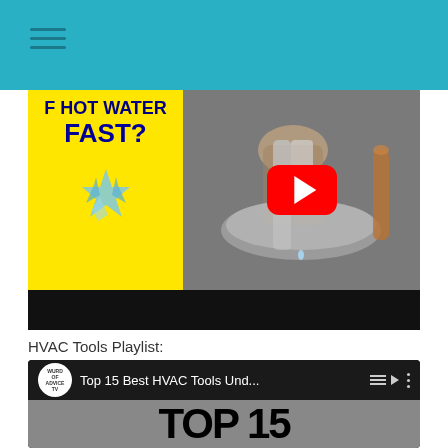[Figure (screenshot): YouTube video thumbnail showing text 'F HOT WATER FAST?' on yellow background with ice crystals, and a person's hand holding a wrench on a water heater, with a YouTube play button overlay]
HVAC Tools Playlist:
[Figure (screenshot): YouTube playlist card for 'Top 15 Best HVAC Tools Und...' from Wurd of Advice TV channel, showing TOP 15 text on thumbnail]